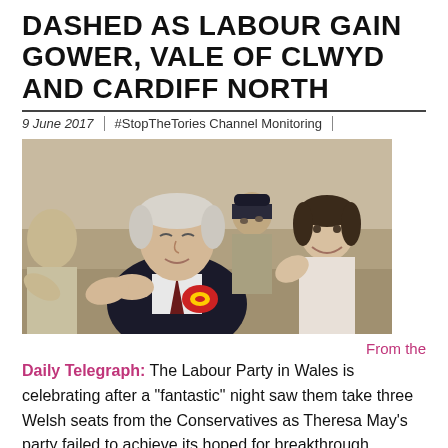DASHED AS LABOUR GAIN GOWER, VALE OF CLWYD AND CARDIFF NORTH
9 June 2017 | #StopTheTories Channel Monitoring |
[Figure (photo): A white-haired elderly man wearing a dark suit and red Labour party rosette, clapping and looking upward with eyes closed, surrounded by celebrating people in the background.]
From the
Daily Telegraph: The Labour Party in Wales is celebrating after a "fantastic" night saw them take three Welsh seats from the Conservatives as Theresa May's party failed to achieve its hoped for breakthrough.